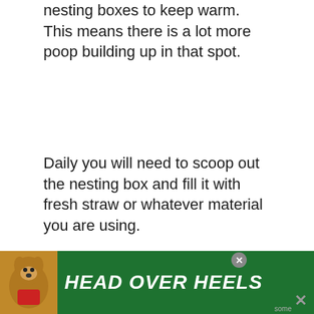nesting boxes to keep warm. This means there is a lot more poop building up in that spot.
Daily you will need to scoop out the nesting box and fill it with fresh straw or whatever material you are using.
If you are having a difficult time getting your hens to lay in a nesting box try these tips.
If you have bantams or other smaller birds tend to find they go in the nesting boxes at
[Figure (other): Advertisement banner for 'HEAD OVER HEELS' with a dog photo on green background]